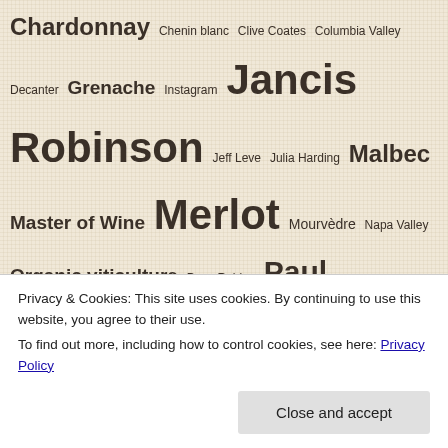[Figure (infographic): Tag cloud of wine-related topics on a linen-textured background. Terms shown at various font sizes indicating their relative prominence: Pinot noir (largest), Jancis Robinson, Merlot, Rosé Wine, Sustainable Viticulture, Syrah, Walla Walla Washington Wines and Wineries, Wine Enthusiast, Wine Spectator (all large); Chardonnay, Grenache, Malbec, Master of Wine, Organic viticulture, Paul Gregutt, Petit Verdot, Sauvignon blanc, Sparkling wine (medium-large); and many smaller terms.]
Privacy & Cookies: This site uses cookies. By continuing to use this website, you agree to their use.
To find out more, including how to control cookies, see here: Privacy Policy